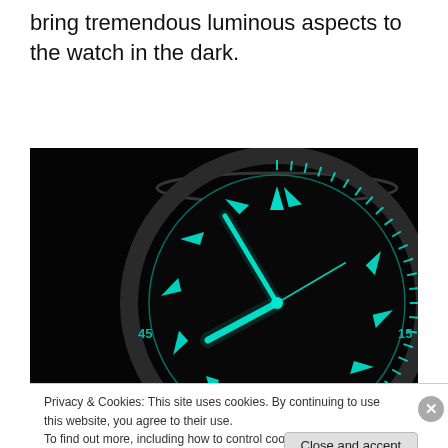bring tremendous luminous aspects to the watch in the dark.
[Figure (photo): Close-up photograph of a diver's watch face glowing in the dark with bright cyan/teal luminous markers and hands, showing the watch bezel with minute markers, photographed in near-complete darkness.]
Privacy & Cookies: This site uses cookies. By continuing to use this website, you agree to their use.
To find out more, including how to control cookies, see here: Cookie Policy
Close and accept